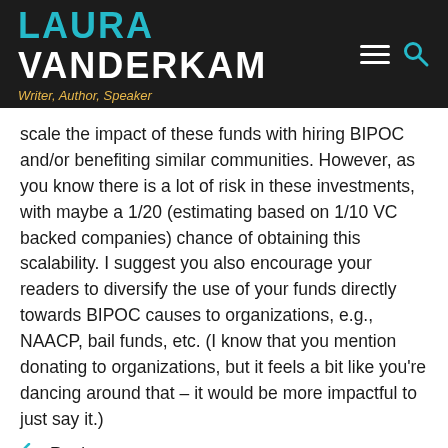LAURA VANDERKAM — Writer, Author, Speaker
scale the impact of these funds with hiring BIPOC and/or benefiting similar communities. However, as you know there is a lot of risk in these investments, with maybe a 1/20 (estimating based on 1/10 VC backed companies) chance of obtaining this scalability. I suggest you also encourage your readers to diversify the use of your funds directly towards BIPOC causes to organizations, e.g., NAACP, bail funds, etc. (I know that you mention donating to organizations, but it feels a bit like you're dancing around that – it would be more impactful to just say it.)
Reply